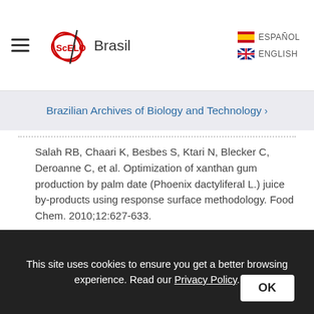SciELO Brasil | ESPAÑOL | ENGLISH
Brazilian Archives of Biology and Technology
Salah RB, Chaari K, Besbes S, Ktari N, Blecker C, Deroanne C, et al. Optimization of xanthan gum production by palm date (Phoenix dactyliferal L.) juice by-products using response surface methodology. Food Chem. 2010;12:627-633.
Salah RB, Chaari K, Besbes S, Ktari N, Blecker C, Deroanne C, et al. Production of xanthan gum from Xanthomanas Campestris NRRL B-1459 by fermentation of date juice
This site uses cookies to ensure you get a better browsing experience. Read our Privacy Policy.